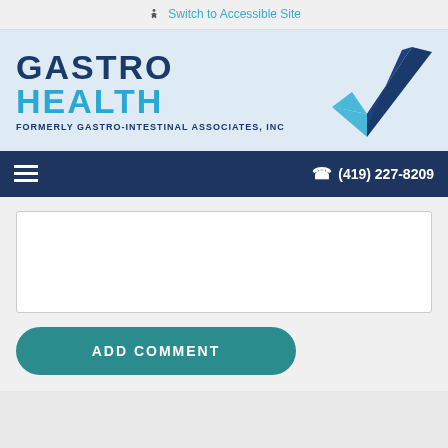Switch to Accessible Site
[Figure (logo): Gastro Health logo with checkmark graphic and text 'GASTRO HEALTH FORMERLY GASTRO-INTESTINAL ASSOCIATES, INC']
(419) 227-8209
ADD COMMENT